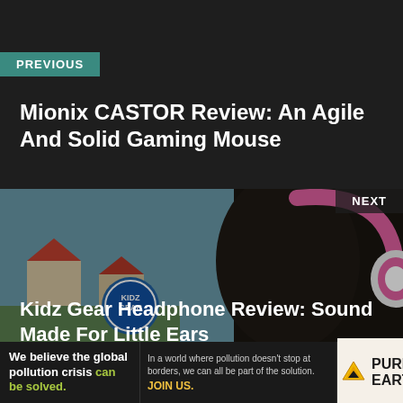PREVIOUS
Mionix CASTOR Review: An Agile And Solid Gaming Mouse
[Figure (photo): Photo of a child wearing pink Kidz Gear headphones outdoors, with a Kidz Gear badge logo visible]
NEXT
Kidz Gear Headphone Review: Sound Made For Little Ears
Latest Articles
[Figure (infographic): Pure Earth advertisement: 'We believe the global pollution crisis can be solved. In a world where pollution doesn't stop at borders, we can all be part of the solution. JOIN US.' with Pure Earth logo.]